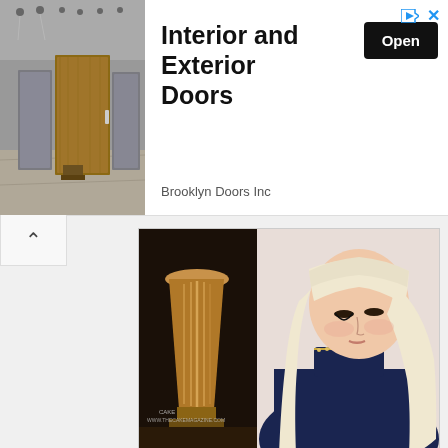[Figure (screenshot): Advertisement banner for Brooklyn Doors Inc showing interior of a door showroom with modern wooden doors]
Interior and Exterior Doors
Brooklyn Doors Inc
[Figure (photo): Photo of model Jessica Kylie with long blonde hair and bangs, wearing a dark navy top, looking downward. CAKE magazine watermark visible.]
Who is model Jessica Kylie? Her Wiki: Net Worth, Age, Height, Dating, Family, Affair, Baby